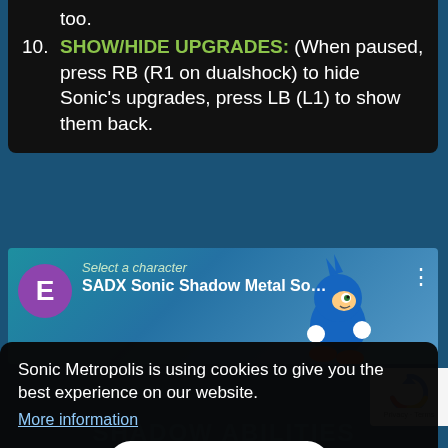too.
10. SHOW/HIDE UPGRADES: (When paused, press RB (R1 on dualshock) to hide Sonic's upgrades, press LB (L1) to show them back.
[Figure (screenshot): Video thumbnail showing 'SADX Sonic Shadow Metal So...' with purple avatar E and Sonic character image]
Sonic Metropolis is using cookies to give you the best experience on our website.
More information
Accept
SHADOW ABILITIES